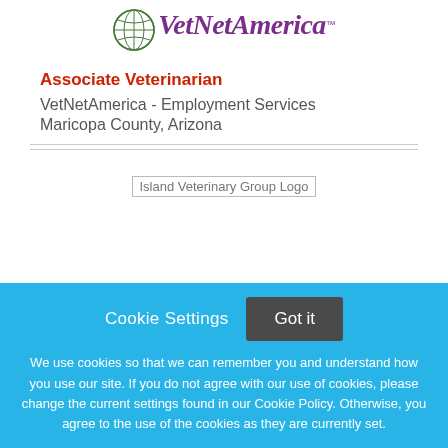[Figure (logo): VetNetAmerica logo with globe icon and stylized italic text]
Associate Veterinarian
VetNetAmerica - Employment Services
Maricopa County, Arizona
[Figure (logo): Island Veterinary Group Logo placeholder image]
Cookie Settings  Got it
We use cookies so that we can remember you and understand how you use our site. If you do not agree with our use of cookies, please change the current settings found in our Cookie Policy. Otherwise, you agree to the use of the cookies as they are currently set.